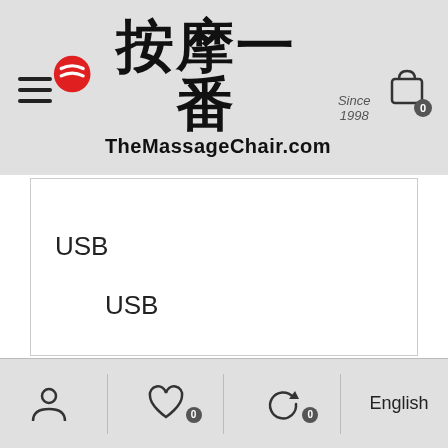按摩一番 Since 1998 TheMassageChair.com
USB
USB
40-50
A
English